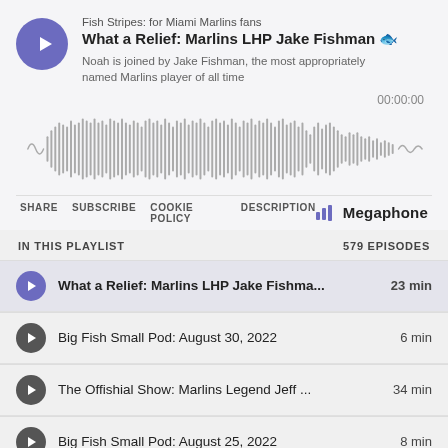Fish Stripes: for Miami Marlins fans
What a Relief: Marlins LHP Jake Fishman 🐟
Noah is joined by Jake Fishman, the most appropriately named Marlins player of all time
[Figure (other): Audio waveform player showing sound bars with timestamp 00:00:00]
SHARE  SUBSCRIBE  COOKIE POLICY  DESCRIPTION  Megaphone
IN THIS PLAYLIST
579 EPISODES
What a Relief: Marlins LHP Jake Fishma... 23 min
Big Fish Small Pod: August 30, 2022  6 min
The Offishial Show: Marlins Legend Jeff ...34 min
Big Fish Small Pod: August 25, 2022  8 min